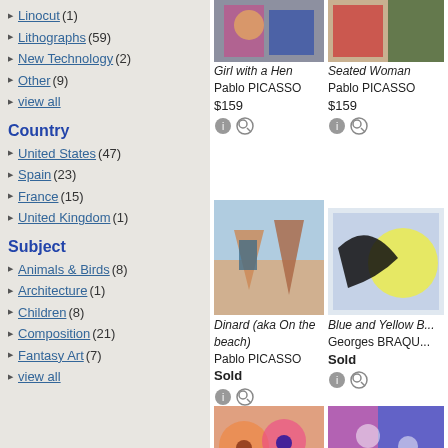Linocut (1)
Lithographs (59)
New Technology (2)
Other (9)
view all
Country
United States (47)
Spain (23)
France (15)
United Kingdom (1)
Subject
Animals & Birds (8)
Architecture (1)
Children (8)
Composition (21)
Fantasy Art (7)
view all
[Figure (photo): Girl with a Hen painting thumbnail]
Girl with a Hen
Pablo PICASSO
$159
[Figure (photo): Seated Woman painting thumbnail]
Seated Woman
Pablo PICASSO
$159
[Figure (photo): Dinard (aka On the beach) painting thumbnail]
Dinard (aka On the beach)
Pablo PICASSO
Sold
[Figure (photo): Blue and Yellow Bird painting thumbnail]
Blue and Yellow B...
Georges BRAQU...
Sold
[Figure (photo): Colorful faces artwork thumbnail]
[Figure (photo): Abstract figures artwork thumbnail]